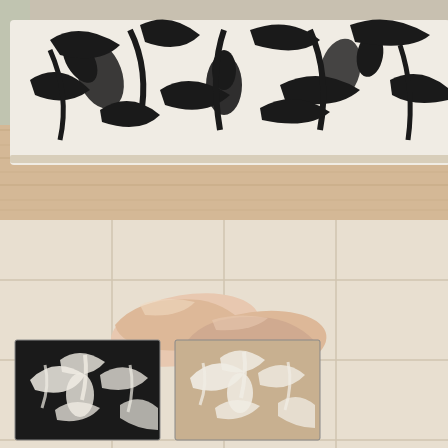[Figure (photo): Product photo showing a decorative rug/mat with a black and white floral damask pattern, placed at a doorstep. A pair of nude/beige patent leather high heel pumps sits on the tile floor in front of the mat. In the lower portion of the image, two smaller inset thumbnail photos show alternate colorway options of the same rug: one with a dark/black background with cream floral pattern, and one with a beige/tan background with cream floral pattern.]